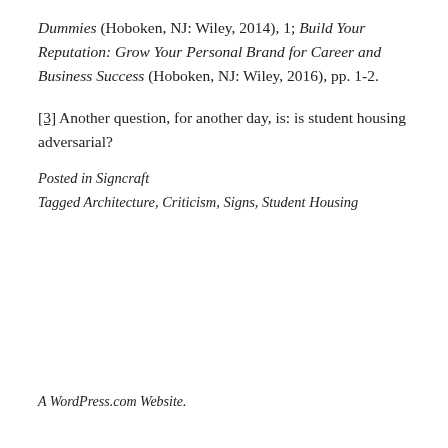Dummies (Hoboken, NJ: Wiley, 2014), 1; Build Your Reputation: Grow Your Personal Brand for Career and Business Success (Hoboken, NJ: Wiley, 2016), pp. 1-2.
[3] Another question, for another day, is: is student housing adversarial?
Posted in Signcraft
Tagged Architecture, Criticism, Signs, Student Housing
A WordPress.com Website.